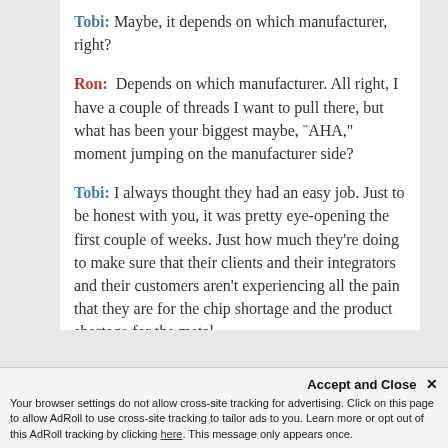Tobi: Maybe, it depends on which manufacturer, right?
Ron:  Depends on which manufacturer. All right, I have a couple of threads I want to pull there, but what has been your biggest maybe, ¨AHA," moment jumping on the manufacturer side?
Tobi: I always thought they had an easy job. Just to be honest with you, it was pretty eye-opening the first couple of weeks. Just how much they're doing to make sure that their clients and their integrators and their customers aren't experiencing all the pain that they are for the chip shortage and the product shortage for the metal
Accept and Close ✕
Your browser settings do not allow cross-site tracking for advertising. Click on this page to allow AdRoll to use cross-site tracking to tailor ads to you. Learn more or opt out of this AdRoll tracking by clicking here. This message only appears once.